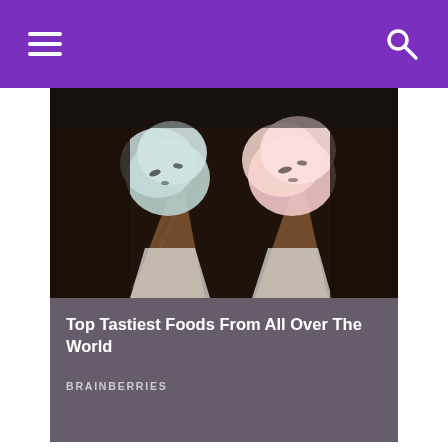[Figure (photo): Ad card showing two ice cream cones wrapped in paper, with blue and pink ice cream scoops, dark background. Overlay text: 'Top Tastiest Foods From All Over The World' and 'BRAINBERRIES']
“Hayden crossed the Rainbow Bridge after a battle with degenerative myelopathy.”
[Figure (photo): Outdoor photo showing a colorful disc (green, orange, red) on ground with a camera visible, on brown dirt/mulch surface]